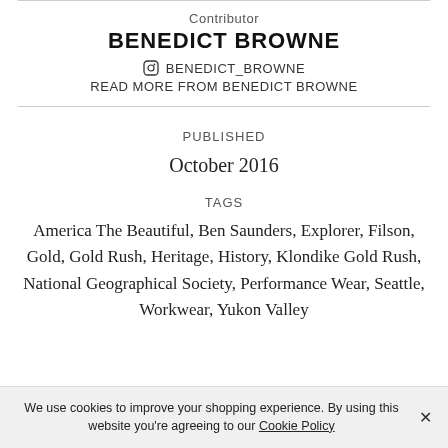Contributor
BENEDICT BROWNE
BENEDICT_BROWNE
READ MORE FROM BENEDICT BROWNE
PUBLISHED
October 2016
TAGS
America The Beautiful, Ben Saunders, Explorer, Filson, Gold, Gold Rush, Heritage, History, Klondike Gold Rush, National Geographical Society, Performance Wear, Seattle, Workwear, Yukon Valley
We use cookies to improve your shopping experience. By using this website you're agreeing to our Cookie Policy